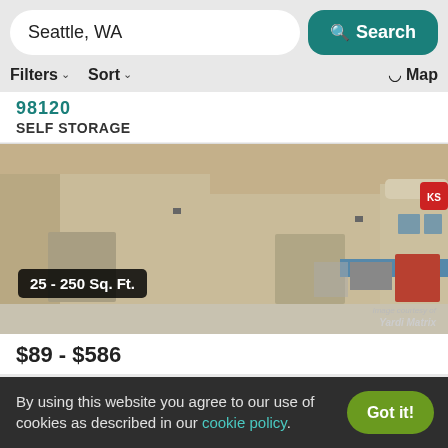Seattle, WA
Search
Filters
Sort
Map
98120
SELF STORAGE
[Figure (photo): Exterior photo of a tan/beige self-storage building with large roll-up doors; a label overlay reads '25 - 250 Sq. Ft.' with 'Image courtesy of Yardi Matrix' watermark in the lower right.]
$89 - $586
By using this website you agree to our use of cookies as described in our cookie policy.
Got it!